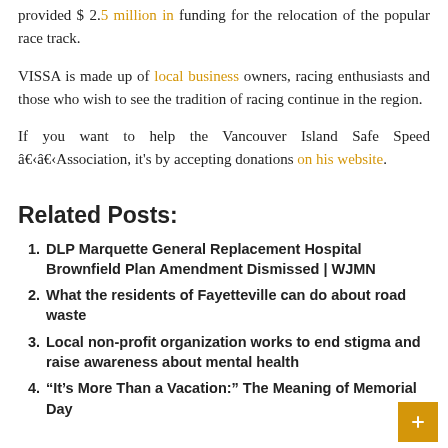provided $ 2.5 million in funding for the relocation of the popular race track.
VISSA is made up of local business owners, racing enthusiasts and those who wish to see the tradition of racing continue in the region.
If you want to help the Vancouver Island Safe Speed â€‹â€‹Association, it's by accepting donations on his website.
Related Posts:
DLP Marquette General Replacement Hospital Brownfield Plan Amendment Dismissed | WJMN
What the residents of Fayetteville can do about road waste
Local non-profit organization works to end stigma and raise awareness about mental health
“It’s More Than a Vacation:” The Meaning of Memorial Day